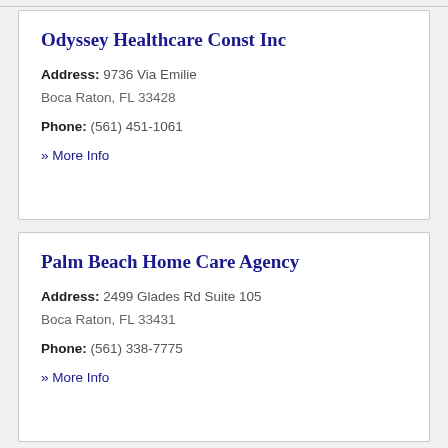Odyssey Healthcare Const Inc
Address: 9736 Via Emilie
Boca Raton, FL 33428
Phone: (561) 451-1061
» More Info
Palm Beach Home Care Agency
Address: 2499 Glades Rd Suite 105
Boca Raton, FL 33431
Phone: (561) 338-7775
» More Info